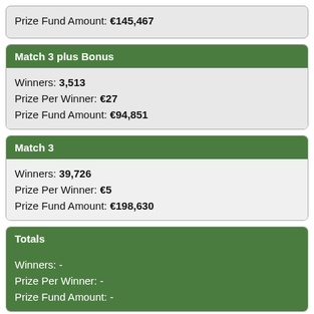Prize Fund Amount: €145,467
Match 3 plus Bonus
Winners: 3,513
Prize Per Winner: €27
Prize Fund Amount: €94,851
Match 3
Winners: 39,726
Prize Per Winner: €5
Prize Fund Amount: €198,630
Totals
Winners: -
Prize Per Winner: -
Prize Fund Amount: -